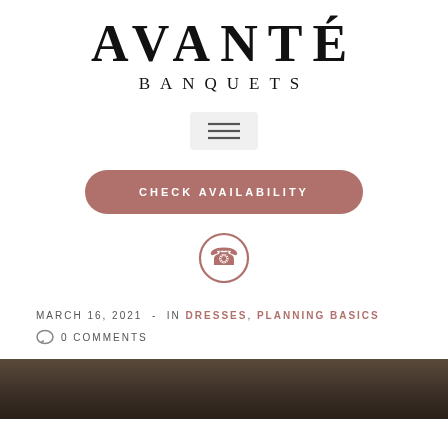AVANTÉ BANQUETS
[Figure (infographic): Hamburger menu icon button in a light grey rounded box]
[Figure (infographic): CHECK AVAILABILITY button in mauve/rose rounded pill shape]
[Figure (infographic): Phone icon inside a circle outline in mauve color]
MARCH 16, 2021 - IN DRESSES, PLANNING BASICS
0 COMMENTS
[Figure (photo): Dark brownish background image, bottom portion of page, partially visible]